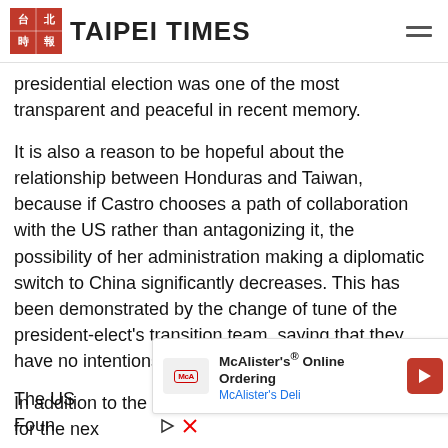TAIPEI TIMES
presidential election was one of the most transparent and peaceful in recent memory.
It is also a reason to be hopeful about the relationship between Honduras and Taiwan, because if Castro chooses a path of collaboration with the US rather than antagonizing it, the possibility of her administration making a diplomatic switch to China significantly decreases. This has been demonstrated by the change of tune of the president-elect's transition team, saying that they have no intentions of making a switch.
In addition to the calm that it seems Taipei can enjoy for the next... triangu...
[Figure (other): McAlister's Online Ordering advertisement overlay showing McAlister's Deli branding with navigation arrow icon]
The US... nist Foun...